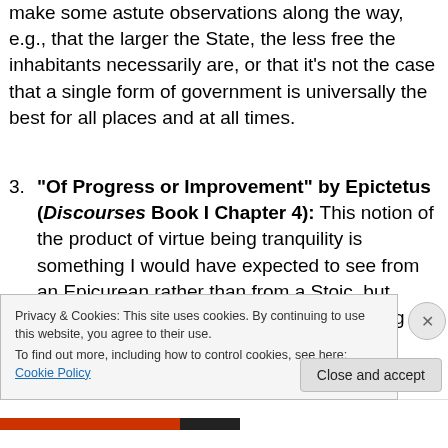make some astute observations along the way, e.g., that the larger the State, the less free the inhabitants necessarily are, or that it's not the case that a single form of government is universally the best for all places and at all times.
3. "Of Progress or Improvement" by Epictetus (Discourses Book I Chapter 4): This notion of the product of virtue being tranquility is something I would have expected to see from an Epicurean rather than from a Stoic, but Epictetus brings the idea back to something that made sense to me by using the
Privacy & Cookies: This site uses cookies. By continuing to use this website, you agree to their use.
To find out more, including how to control cookies, see here: Cookie Policy
Close and accept